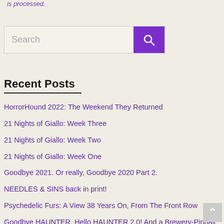is processed.
Search
Recent Posts
HorrorHound 2022: The Weekend They Returned
21 Nights of Giallo: Week Three
21 Nights of Giallo: Week Two
21 Nights of Giallo: Week One
Goodbye 2021. Or really, Goodbye 2020 Part 2.
NEEDLES & SINS back in print!
Psychedelic Furs: A View 38 Years On, From The Front Row
Goodbye HAUNTER. Hello HAUNTER 2.0! And a Brewery-Pinball Roadtrip!